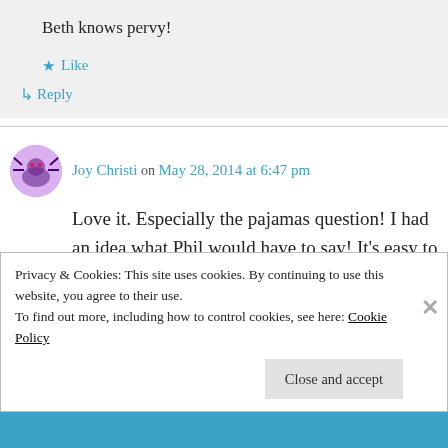Beth knows pervy!
Like
Reply
Joy Christi on May 28, 2014 at 6:47 pm
Love it. Especially the pajamas question! I had an idea what Phil would have to say! It's easy to forget about pj's when you don't have kids
Privacy & Cookies: This site uses cookies. By continuing to use this website, you agree to their use.
To find out more, including how to control cookies, see here: Cookie Policy
Close and accept